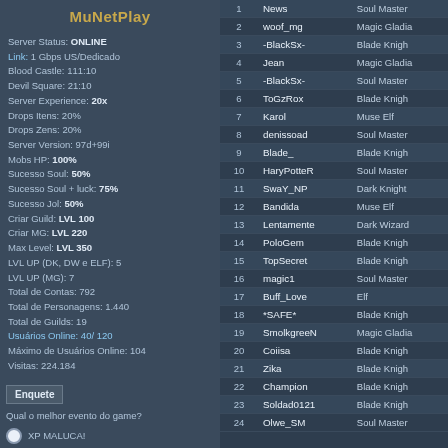MuNetPlay
Server Status: ONLINE
Link: 1 Gbps US/Dedicado
Blood Castle: 111:10
Devil Square: 21:10
Server Experience: 20x
Drops Itens: 20%
Drops Zens: 20%
Server Version: 97d+99i
Mobs HP: 100%
Sucesso Soul: 50%
Sucesso Soul + luck: 75%
Sucesso Jol: 50%
Criar Guild: LVL 100
Criar MG: LVL 220
Max Level: LVL 350
LVL UP (DK, DW e ELF): 5
LVL UP (MG): 7
Total de Contas: 792
Total de Personagens: 1.440
Total de Guilds: 19
Usuários Online: 40/ 120
Máximo de Usuários Online: 104
Visitas: 224.184
Enquete
Qual o melhor evento do game?
XP MALUCA!
Users ON
| # | Name | Class |
| --- | --- | --- |
| 1 | News | Soul Master |
| 2 | woof_mg | Magic Gladia... |
| 3 | -BlackSx- | Blade Knigh... |
| 4 | Jean | Magic Gladia... |
| 5 | -BlackSx- | Soul Master |
| 6 | ToGzRox | Blade Knigh... |
| 7 | Karol | Muse Elf |
| 8 | denissoad | Soul Master |
| 9 | Blade_ | Blade Knigh... |
| 10 | HaryPotteR | Soul Master |
| 11 | SwaY_NP | Dark Knight |
| 12 | Bandida | Muse Elf |
| 13 | Lentamente | Dark Wizard... |
| 14 | PoloGem | Blade Knigh... |
| 15 | TopSecret | Blade Knigh... |
| 16 | magic1 | Soul Master |
| 17 | Buff_Love | Elf |
| 18 | *SAFE* | Blade Knigh... |
| 19 | SmolkgreeN | Magic Gladia... |
| 20 | Coiisa | Blade Knigh... |
| 21 | Zika | Blade Knigh... |
| 22 | Champion | Blade Knigh... |
| 23 | Soldad0121 | Blade Knigh... |
| 24 | Olwe_SM | Soul Master |